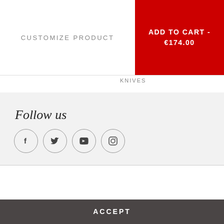CUSTOMIZE PRODUCT
ADD TO CART - €174.00
KNIVES
Follow us
[Figure (illustration): Social media icons in circles: Facebook, Twitter, YouTube, Instagram]
Contact us
To give you the best possible experience, this site uses cookies. Using your site means your agree to our use of cookies.
VIEW COOKIES POLICY
ACCEPT